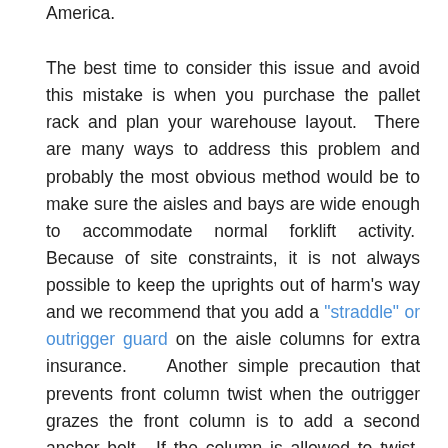America.
The best time to consider this issue and avoid this mistake is when you purchase the pallet rack and plan your warehouse layout.  There are many ways to address this problem and probably the most obvious method would be to make sure the aisles and bays are wide enough to accommodate normal forklift activity.  Because of site constraints, it is not always possible to keep the uprights out of harm's way and we recommend that you add a "straddle" or outrigger guard on the aisle columns for extra insurance.    Another simple precaution that prevents front column twist when the outrigger grazes the front column is to add a second anchor bolt.  If the column is allowed to twist, damage to the column above the straddle protector can occur and easily defeat the purpose of the guard.  It is not too late to check existing rack and make sure all anchors are installed properly and install an additional anchor on aisle upright columns.